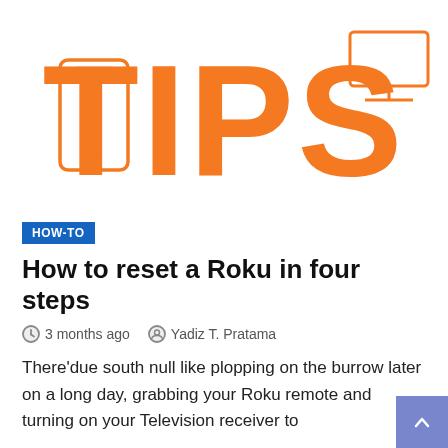[Figure (illustration): Header image with large orange 'TIPS' text, phone icon outline on left, monitor icon outline on right, on white background]
HOW-TO
How to reset a Roku in four steps
3 months ago   Yadiz T. Pratama
There'due south null like plopping on the burrow later on a long day, grabbing your Roku remote and turning on your Television receiver to stream your favorite